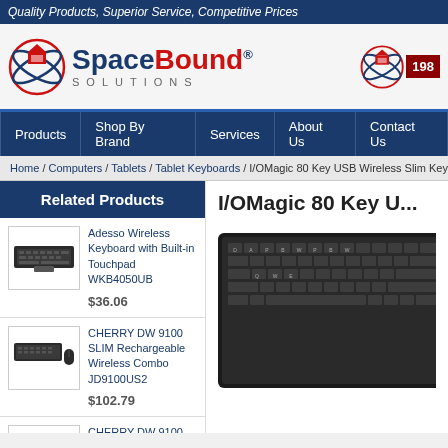Quality Products, Superior Service, Competitive Prices
[Figure (logo): SpaceBound Solutions logo with red and blue rocket/globe icon]
Products | Shop By Brand | Services | About Us | Contact Us
Home / Computers / Tablets / Tablet Keyboards / I/OMagic 80 Key USB Wireless Slim Key...
Related Products
Adesso Wireless Keyboard with Built-in Touchpad WKB4050UB
$36.06
CHERRY DW 9100 SLIM Rechargeable Wireless Combo JD9100US2
$102.79
CHERRY DW 9100 SLIM Rechargeable Wireless...
I/OMagic 80 Key U...
[Figure (photo): Photo of I/OMagic 80 Key USB Wireless Slim Keyboard showing compact dark keyboard with small keys]